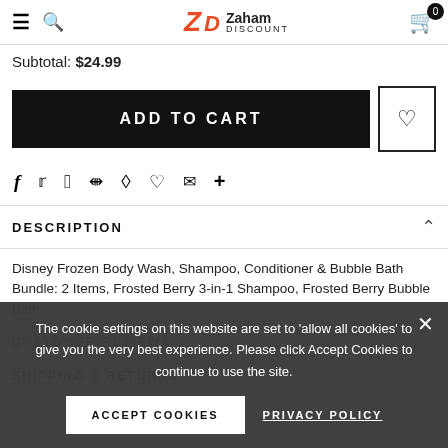Zaham Discount — navigation header with hamburger menu, search, logo, and cart (0 items)
Subtotal: $24.99
ADD TO CART
[Figure (other): Social share icons: Facebook, Twitter, Pinterest, Grid, Bookmark, Heart, Mail, Plus]
DESCRIPTION
Disney Frozen Body Wash, Shampoo, Conditioner & Bubble Bath Bundle: 2 Items, Frosted Berry 3-in-1 Shampoo, Frosted Berry Bubble Bath
CUSTOMER REVIEWS
SHIPPING & RETURNS
The cookie settings on this website are set to 'allow all cookies' to give you the very best experience. Please click Accept Cookies to continue to use the site.
ACCEPT COOKIES
PRIVACY POLICY